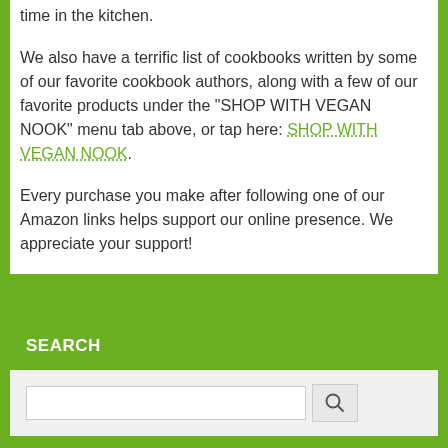time in the kitchen.
We also have a terrific list of cookbooks written by some of our favorite cookbook authors, along with a few of our favorite products under the "SHOP WITH VEGAN NOOK" menu tab above, or tap here: SHOP WITH VEGAN NOOK.
Every purchase you make after following one of our Amazon links helps support our online presence. We appreciate your support!
SEARCH